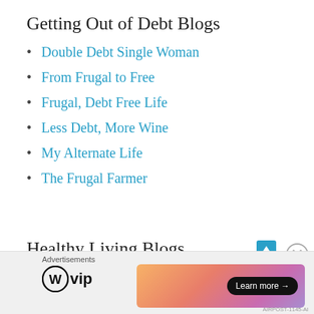Getting Out of Debt Blogs
Double Debt Single Woman
From Frugal to Free
Frugal, Debt Free Life
Less Debt, More Wine
My Alternate Life
The Frugal Farmer
Healthy Living Blogs
Advertisements